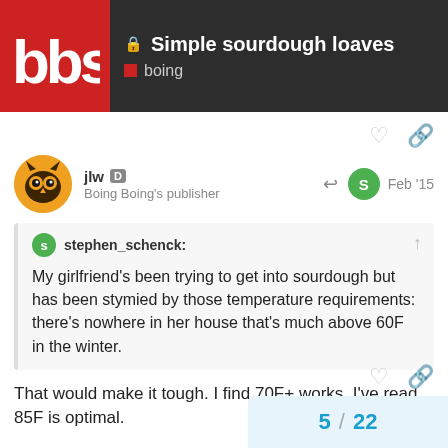Simple sourdough loaves | boing
jlw · Boing Boing's publisher · Feb '15
stephen_schenck: My girlfriend's been trying to get into sourdough but has been stymied by those temperature requirements: there's nowhere in her house that's much above 60F in the winter.
That would make it tough. I find 70F+ works, I've read 85F is optimal.
5 / 22